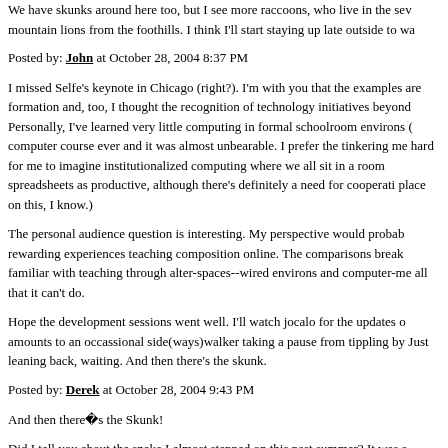We have skunks around here too, but I see more raccoons, who live in the sew mountain lions from the foothills. I think I'll start staying up late outside to wa
Posted by: John at October 28, 2004 8:37 PM
I missed Selfe's keynote in Chicago (right?). I'm with you that the examples are formation and, too, I thought the recognition of technology initiatives beyond Personally, I've learned very little computing in formal schoolroom environs ( computer course ever and it was almost unbearable. I prefer the tinkering me hard for me to imagine institutionalized computing where we all sit in a room spreadsheets as productive, although there's definitely a need for cooperati place on this, I know.)
The personal audience question is interesting. My perspective would probab rewarding experiences teaching composition online. The comparisons break familiar with teaching through alter-spaces--wired environs and computer-me all that it can't do.
Hope the development sessions went well. I'll watch jocalo for the updates o amounts to an occassional side(ways)walker taking a pause from tippling by Just leaning back, waiting. And then there's the skunk.
Posted by: Derek at October 28, 2004 9:43 PM
And then there�s the Skunk!
Did I tell you about the snake I almost stepped on this past summer? It was a looking for a � corner that was partially controlling for a survey I was workin